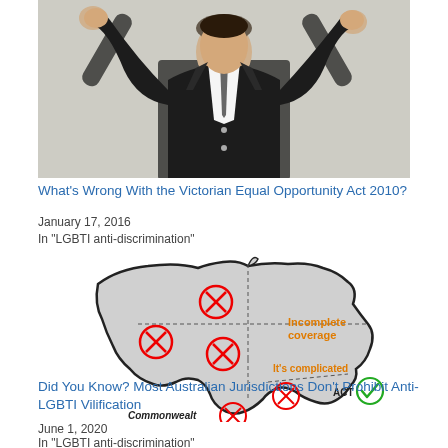[Figure (photo): Person in dark suit with hands raised, speaking at a presentation]
What's Wrong With the Victorian Equal Opportunity Act 2010?
January 17, 2016
In "LGBTI anti-discrimination"
[Figure (infographic): Map of Australia showing jurisdictions with red X marks for incomplete coverage and a green checkmark for ACT, with labels 'Incomplete coverage' and 'It's complicated' in orange]
Did You Know? Most Australian Jurisdictions Don't Prohibit Anti-LGBTI Vilification
June 1, 2020
In "LGBTI anti-discrimination"